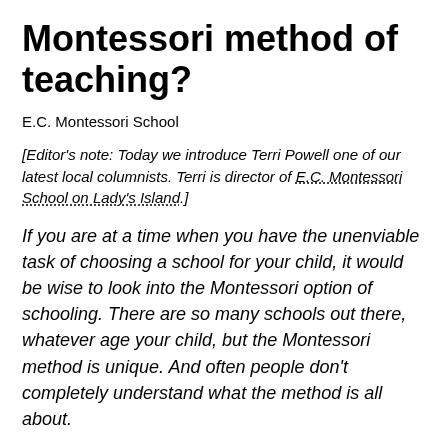Montessori method of teaching?
E.C. Montessori School
[Editor's note: Today we introduce Terri Powell one of our latest local columnists. Terri is director of E.C. Montessori School on Lady's Island.]
If you are at a time when you have the unenviable task of choosing a school for your child, it would be wise to look into the Montessori option of schooling. There are so many schools out there, whatever age your child, but the Montessori method is unique. And often people don't completely understand what the method is all about.